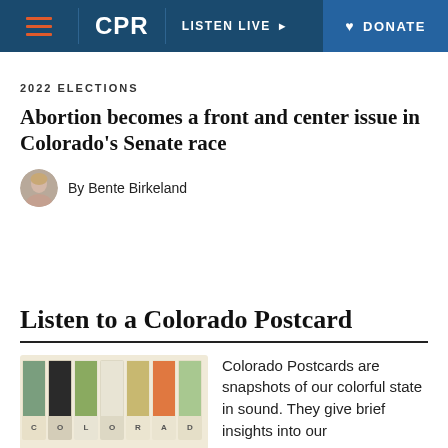CPR | LISTEN LIVE | DONATE
2022 ELECTIONS
Abortion becomes a front and center issue in Colorado's Senate race
By Bente Birkeland
Listen to a Colorado Postcard
[Figure (photo): Colorado Postcards branded image showing letter tiles spelling out COLORADO with illustrated artwork on each tile, labeled POSTCARDS at the bottom]
Colorado Postcards are snapshots of our colorful state in sound. They give brief insights into our